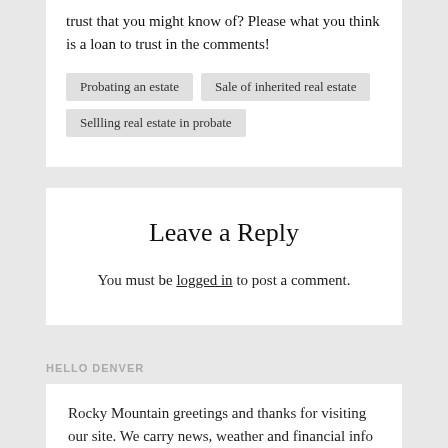trust that you might know of? Please what you think is a loan to trust in the comments!
Probating an estate
Sale of inherited real estate
Sellling real estate in probate
Leave a Reply
You must be logged in to post a comment.
HELLO DENVER
Rocky Mountain greetings and thanks for visiting our site. We carry news, weather and financial info